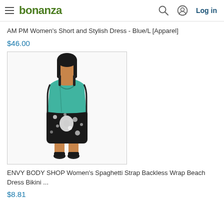bonanza | Log in
AM PM Women's Short and Stylish Dress - Blue/L [Apparel]
$46.00
[Figure (photo): Woman wearing a teal spaghetti strap backless wrap beach dress with black and white floral pattern on the lower half, standing against a white background.]
ENVY BODY SHOP Women's Spaghetti Strap Backless Wrap Beach Dress Bikini ...
$8.81